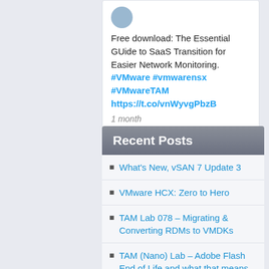Free download: The Essential GUide to SaaS Transition for Easier Network Monitoring. #VMware #vmwarensx #VMwareTAM https://t.co/vnWyvgPbzB
1 month
Recent Posts
What's New, vSAN 7 Update 3
VMware HCX: Zero to Hero
TAM Lab 078 – Migrating & Converting RDMs to VMDKs
TAM (Nano) Lab – Adobe Flash End of Life and what that means for VMware Products
What's new in vRealize Suite Lifecycle Manager 8.0
vRealize Suite on Cloud Foundation
Comparing vRealize Automation and